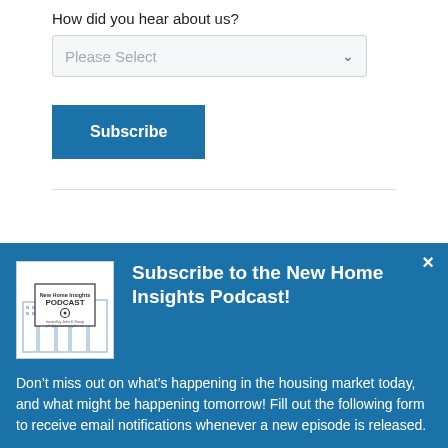How did you hear about us?
[Figure (screenshot): Dropdown select input with placeholder 'Please Select']
[Figure (screenshot): Blue 'Subscribe' button]
[Figure (infographic): Blue panel with podcast subscription banner: image of 'New Home Insights Podcast' cover, title 'Subscribe to the New Home Insights Podcast!', body text, and close button]
Subscribe to the New Home Insights Podcast!
Don’t miss out on what’s happening in the housing market today, and what might be happening tomorrow! Fill out the following form to receive email notifications whenever a new episode is released.